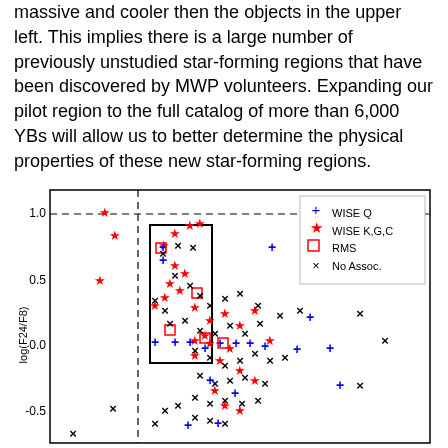massive and cooler then the objects in the upper left. This implies there is a large number of previously unstudied star-forming regions that have been discovered by MWP volunteers. Expanding our pilot region to the full catalog of more than 6,000 YBs will allow us to better determine the physical properties of these new star-forming regions.
[Figure (scatter-plot): Scatter plot showing log(F24/F8) vs various source categories (WISE Q, WISE K,G,C, RMS, No Assoc.) with dashed reference lines and a highlighted rectangular region.]